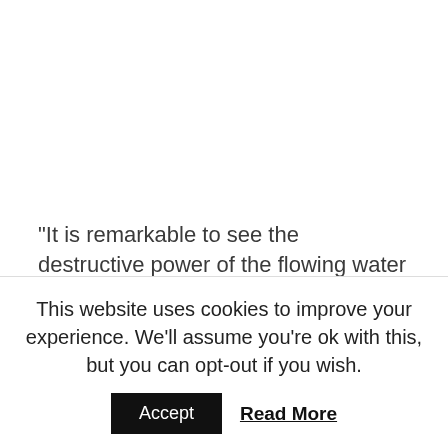“It is remarkable to see the destructive power of the flowing water and the extent of the flooding and the scale of the damage is something I have never witnessed before on the railway.  We are grateful to our colleagues at Scottish Canals for their prompt
This website uses cookies to improve your experience. We'll assume you're ok with this, but you can opt-out if you wish.